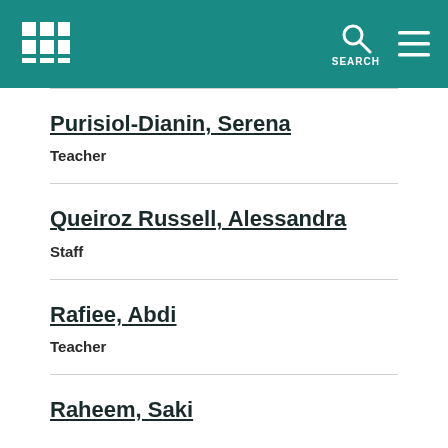Purisiol-Dianin, Serena
Teacher
Queiroz Russell, Alessandra
Staff
Rafiee, Abdi
Teacher
Raheem, Saki